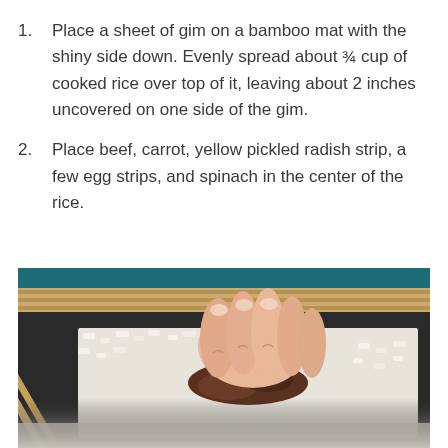Place a sheet of gim on a bamboo mat with the shiny side down. Evenly spread about ¾ cup of cooked rice over top of it, leaving about 2 inches uncovered on one side of the gim.
Place beef, carrot, yellow pickled radish strip, a few egg strips, and spinach in the center of the rice.
[Figure (photo): A close-up photo of hands placing beef over rice on a sheet of gim (seaweed) on a bamboo mat, with chopsticks visible on the left side. Rice is spread across the dark nori sheet.]